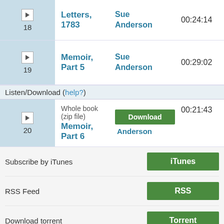| Track | Title | Reader | Duration |
| --- | --- | --- | --- |
| 18 | Letters, 1783 | Sue Anderson | 00:24:14 |
| 19 | Memoir, Part 5 | Sue Anderson | 00:29:02 |
| 20 | Memoir, Part 6 | Sue Anderson | 00:21:43 |
Listen/Download (help?)
Whole book (zip file)
Subscribe by iTunes
RSS Feed
Download torrent
Production details
Running Time: 7:41:03
Zip file size: 220.6MB
Catalog date: 2011-07-08
Read by: Sue Anderson